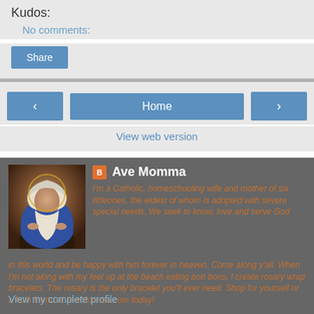Kudos:
No comments:
Share
Home
View web version
Ave Momma
I'm a Catholic, homeschooling wife and mother of six littleones, the oldest of whom is adopted with severe special needs. We seek to know, love and serve God in this world and be happy with him forever in heaven. Come along y'all. When I'm not along with my feet up at the beach eating bon bons, I create rosary wrap bracelets. The rosary is the only bracelet you'll ever need. Shop for yourself or a faith friend at AveMomma.com today!
View my complete profile